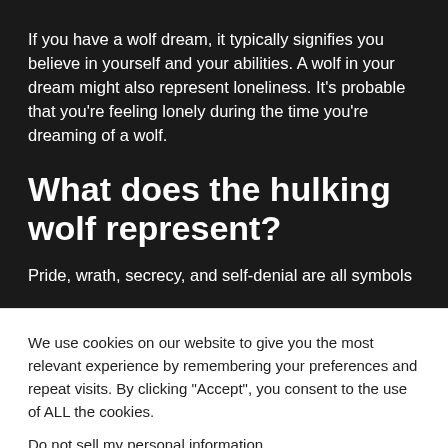If you have a wolf dream, it typically signifies you believe in yourself and your abilities. A wolf in your dream might also represent loneliness. It's probable that you're feeling lonely during the time you're dreaming of a wolf.
What does the hulking wolf represent?
Pride, wrath, secrecy, and self-denial are all symbols
We use cookies on our website to give you the most relevant experience by remembering your preferences and repeat visits. By clicking "Accept", you consent to the use of ALL the cookies.
Do not sell my personal information.